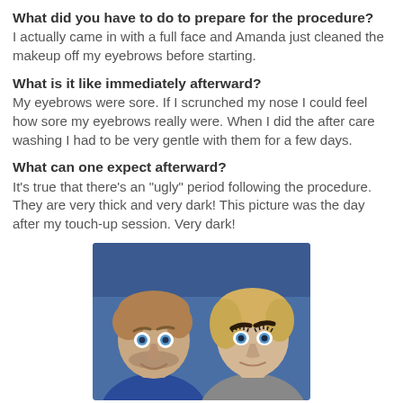What did you have to do to prepare for the procedure?
I actually came in with a full face and Amanda just cleaned the makeup off my eyebrows before starting.
What is it like immediately afterward?
My eyebrows were sore. If I scrunched my nose I could feel how sore my eyebrows really were. When I did the after care washing I had to be very gentle with them for a few days.
What can one expect afterward?
It’s true that there’s an “ugly” period following the procedure. They are very thick and very dark! This picture was the day after my touch-up session. Very dark!
[Figure (photo): Selfie photo of a man and woman lying down together, both with blue eyes, the woman has dark bold microbladed eyebrows visible, blue background clothing/sheets]